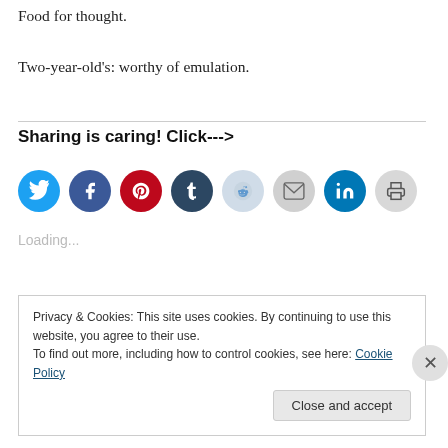Food for thought.
Two-year-old's: worthy of emulation.
Sharing is caring! Click--->
[Figure (infographic): Row of social media sharing icon circles: Twitter (blue), Facebook (dark blue), Pinterest (red), Tumblr (dark navy), Reddit (light blue), Email (gray), LinkedIn (blue), Print (light gray)]
Loading...
Privacy & Cookies: This site uses cookies. By continuing to use this website, you agree to their use.
To find out more, including how to control cookies, see here: Cookie Policy
Close and accept